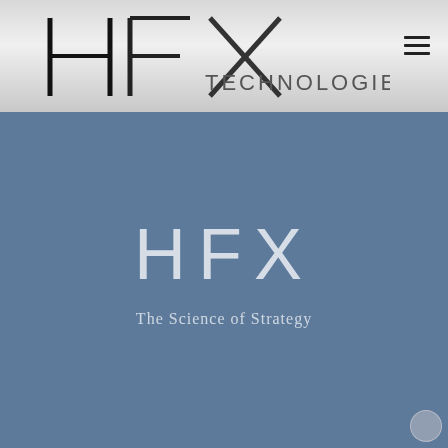[Figure (logo): HFX Technologies logo with stylized H, F, X letters and horizontal line, in black on gray gradient header background]
HFX
The Science of Strategy